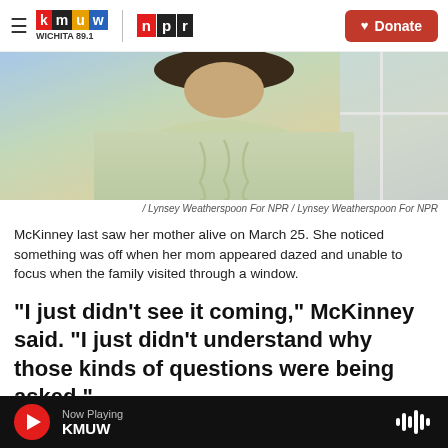KMUW Wichita 89.1 / NPR — Donate
[Figure (photo): A person wearing a cable-knit sweater standing near a window, torso and lower face visible.]
/ Lynsey Weatherspoon For NPR / Lynsey Weatherspoon For NPR
McKinney last saw her mother alive on March 25. She noticed something was off when her mom appeared dazed and unable to focus when the family visited through a window.
"I just didn't see it coming," McKinney said. "I just didn't understand why those kinds of questions were being asked."
Now Playing KMUW